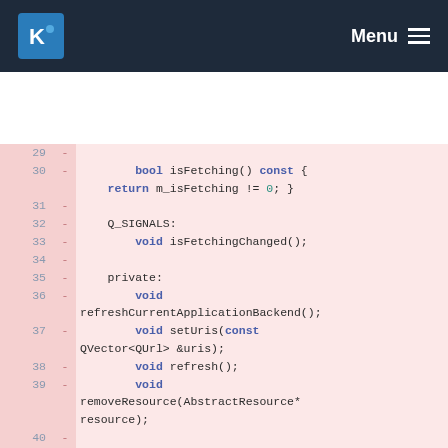KDE Menu
[Figure (screenshot): Code diff view showing C++ header file lines 29-42 with removed lines (marked with minus sign) on a pink background. Lines show isFetching(), Q_SIGNALS, void isFetchingChanged(), private section, void refreshCurrentApplicationBackend(), void setUris(const QVector<QUrl> &uris), void refresh(), void removeResource(AbstractResource* resource), void acquireFetching(bool f).]